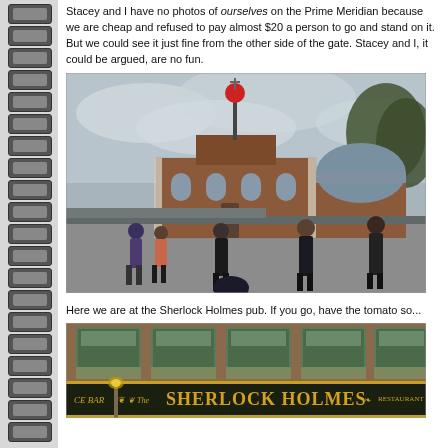Stacey and I have no photos of ourselves on the Prime Meridian because we are cheap and refused to pay almost $20 a person to go and stand on it. But we could see it just fine from the other side of the gate. Stacey and I, it could be argued, are no fun.
[Figure (photo): Outdoor photo of the Royal Observatory Greenwich building with a red time ball on top, cloudy sky, and tourists standing in the cobblestone courtyard in front.]
Here we are at the Sherlock Holmes pub. If you go, have the tomato so...
[Figure (photo): Photo of the exterior facade of The Sherlock Holmes pub, showing the pub sign with decorative gold lettering reading 'The Sherlock Holmes', green plants/flowers in window boxes, and brick building facade.]